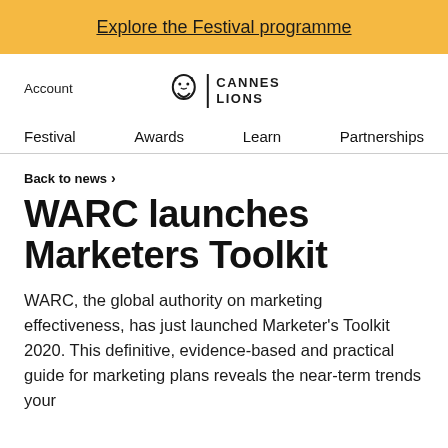Explore the Festival programme
Account
[Figure (logo): Cannes Lions logo with lion icon and text CANNES LIONS]
Festival   Awards   Learn   Partnerships
Back to news >
WARC launches Marketers Toolkit
WARC, the global authority on marketing effectiveness, has just launched Marketer's Toolkit 2020. This definitive, evidence-based and practical guide for marketing plans reveals the near-term trends your